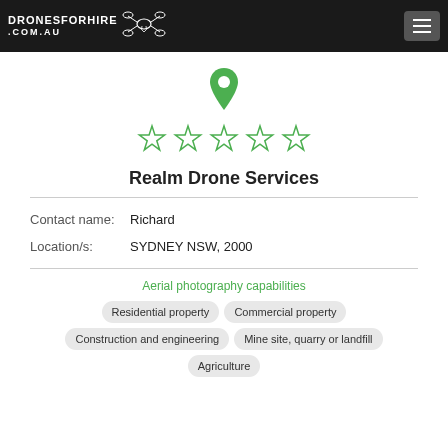DRONESFORHIRE .COM.AU
[Figure (illustration): Green map location pin icon above five empty green star rating icons]
Realm Drone Services
Contact name: Richard
Location/s: SYDNEY NSW, 2000
Aerial photography capabilities
Residential property
Commercial property
Construction and engineering
Mine site, quarry or landfill
Agriculture